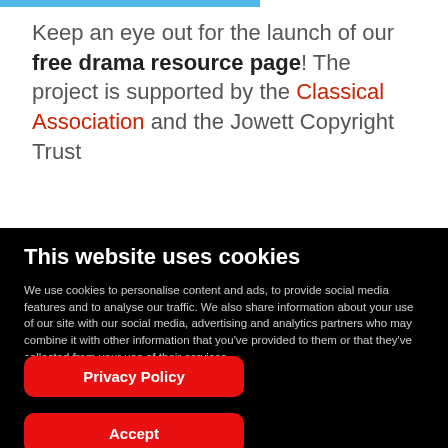Keep an eye out for the launch of our free drama resource page! The project is supported by the Classical Association and the Jowett Copyright Trust
This website uses cookies
We use cookies to personalise content and ads, to provide social media features and to analyse our traffic. We also share information about your use of our site with our social media, advertising and analytics partners who may combine it with other information that you've provided to them or that they've collected from your use of their services
Privacy Policy
Accept